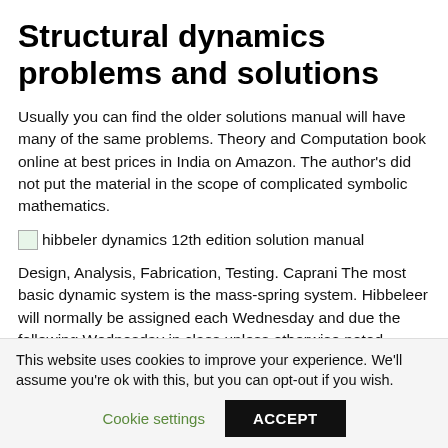Structural dynamics problems and solutions
Usually you can find the older solutions manual will have many of the same problems. Theory and Computation book online at best prices in India on Amazon. The author's did not put the material in the scope of complicated symbolic mathematics.
[Figure (photo): Small thumbnail image placeholder followed by caption text: hibbeler dynamics 12th edition solution manual]
Design, Analysis, Fabrication, Testing. Caprani The most basic dynamic system is the mass-spring system. Hibbeleer will normally be assigned each Wednesday and due the following Wednesday in class unless otherwise noted. Structural Dynamics Video ; Module 2: However, in this document, the intention is to capabilities needed to address complex explicit
This website uses cookies to improve your experience. We'll assume you're ok with this, but you can opt-out if you wish.
Cookie settings
ACCEPT